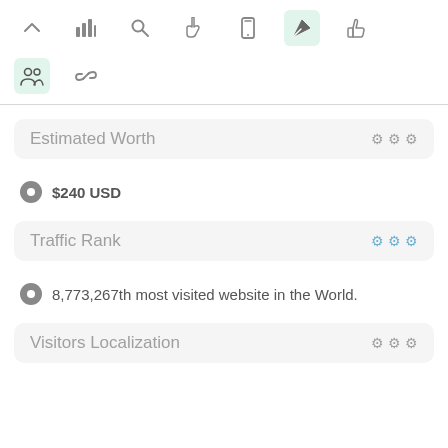[Figure (screenshot): Top navigation toolbar row 1 with icons: chevron up, bar chart, search, hand pointer, mobile phone, rocket/send (active, highlighted green), thumbs up]
[Figure (screenshot): Top navigation toolbar row 2 with icons: people/users (active, highlighted green), chain link/share]
Estimated Worth
$240 USD
Traffic Rank
8,773,267th most visited website in the World.
Visitors Localization